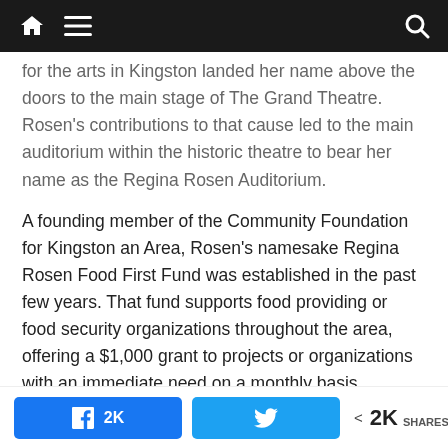[navigation bar with home, menu, and search icons]
for the arts in Kingston landed her name above the doors to the main stage of The Grand Theatre. Rosen's contributions to that cause led to the main auditorium within the historic theatre to bear her name as the Regina Rosen Auditorium.
A founding member of the Community Foundation for Kingston an Area, Rosen's namesake Regina Rosen Food First Fund was established in the past few years. That fund supports food providing or food security organizations throughout the area, offering a $1,000 grant to projects or organizations with an immediate need on a monthly basis.
And while the number of fundraising events,
Facebook 2K shares | Twitter share | 2K SHARES